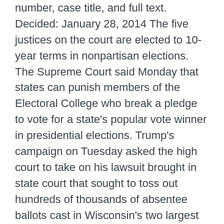number, case title, and full text. Decided: January 28, 2014 The five justices on the court are elected to 10-year terms in nonpartisan elections. The Supreme Court said Monday that states can punish members of the Electoral College who break a pledge to vote for a state's popular vote winner in presidential elections. Trump's campaign on Tuesday asked the high court to take on his lawsuit brought in state court that sought to toss out hundreds of thousands of absentee ballots cast in Wisconsin's two largest liberal counties. The North Dakota Supreme Court is the court of last resort for the state of North Dakota. Supreme Court of North Dakota. The Supreme Court granted his motion Tuesday